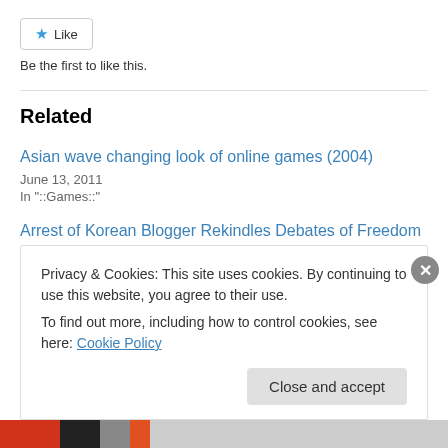[Figure (other): Like button with star icon]
Be the first to like this.
Related
Asian wave changing look of online games (2004)
June 13, 2011
In "::Games::"
Arrest of Korean Blogger Rekindles Debates of Freedom of Speech on Web
January 10, 2009
In "::Cyber Culture::"
Privacy & Cookies: This site uses cookies. By continuing to use this website, you agree to their use.
To find out more, including how to control cookies, see here: Cookie Policy
Close and accept